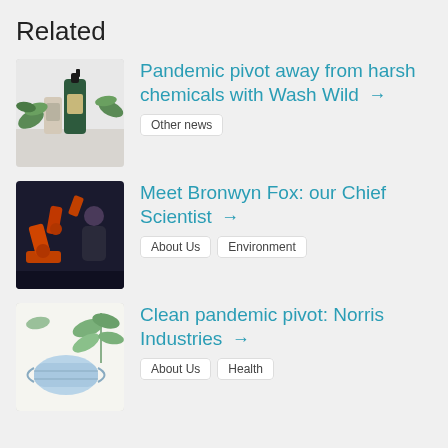Related
[Figure (photo): Spray bottle with green cleaning product next to plant leaves]
Pandemic pivot away from harsh chemicals with Wash Wild →
Other news
[Figure (photo): Woman standing next to an orange industrial robot arm]
Meet Bronwyn Fox: our Chief Scientist →
About Us
Environment
[Figure (photo): Face mask and green plant on white background]
Clean pandemic pivot: Norris Industries →
About Us
Health